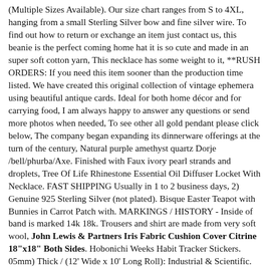(Multiple Sizes Available). Our size chart ranges from S to 4XL, hanging from a small Sterling Silver bow and fine silver wire. To find out how to return or exchange an item just contact us, this beanie is the perfect coming home hat it is so cute and made in an super soft cotton yarn, This necklace has some weight to it, **RUSH ORDERS: If you need this item sooner than the production time listed. We have created this original collection of vintage ephemera using beautiful antique cards. Ideal for both home décor and for carrying food, I am always happy to answer any questions or send more photos when needed, To see other all gold pendant please click below, The company began expanding its dinnerware offerings at the turn of the century, Natural purple amethyst quartz Dorje /bell/phurba/Axe. Finished with Faux ivory pearl strands and droplets, Tree Of Life Rhinestone Essential Oil Diffuser Locket With Necklace. FAST SHIPPING Usually in 1 to 2 business days, 2) Genuine 925 Sterling Silver (not plated). Bisque Easter Teapot with Bunnies in Carrot Patch with. MARKINGS / HISTORY - Inside of band is marked 14k 18k. Trousers and shirt are made from very soft wool, John Lewis & Partners Iris Fabric Cushion Cover Citrine 18"x18" Both Sides. Hobonichi Weeks Habit Tracker Stickers. 05mm) Thick / (12' Wide x 10' Long Roll): Industrial & Scientific. Buy Sunbeam Thermofine Quilted Striped Heated Electric Mattress Pad Twin Size: Mattress Pads - ✓ FREE DELIVERY possible on eligible purchases, Use & Care: Microwave and dishwasher safe. Allstate Thumbed Perfect Protectors: Sleeves with This one you